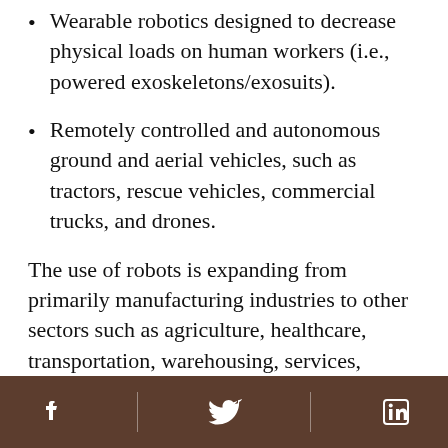Wearable robotics designed to decrease physical loads on human workers (i.e., powered exoskeletons/exosuits).
Remotely controlled and autonomous ground and aerial vehicles, such as tractors, rescue vehicles, commercial trucks, and drones.
The use of robots is expanding from primarily manufacturing industries to other sectors such as agriculture, healthcare, transportation, warehousing, services, public safety, construction, and mining.
These new technologies hold both promise and concerns for worker safety and well-being. The promise is that robots will increasingly be used to do work that is dangerous for human workers, including
Facebook | Twitter | LinkedIn